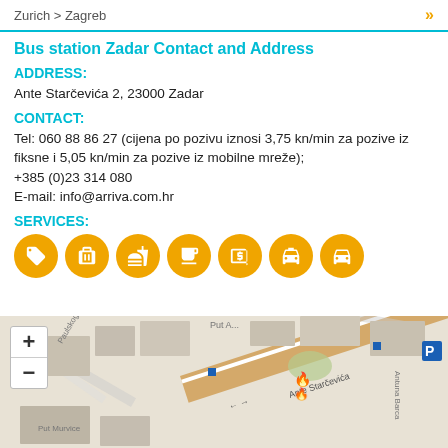Zurich > Zagreb
Bus station Zadar Contact and Address
ADDRESS:
Ante Starčevića 2, 23000 Zadar
CONTACT:
Tel: 060 88 86 27 (cijena po pozivu iznosi 3,75 kn/min za pozive iz fiksne i 5,05 kn/min za pozive iz mobilne mreže); +385 (0)23 314 080
E-mail: info@arriva.com.hr
SERVICES:
[Figure (infographic): Row of 7 orange circular icons representing services: ticket, luggage, restaurant/food, cafe, ATM/exchange, taxi, parking/car]
[Figure (map): Street map showing the area around Ante Starčevića in Zadar, with zoom in/out controls]